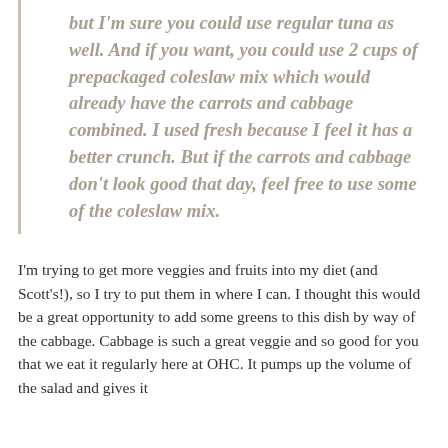but I'm sure you could use regular tuna as well. And if you want, you could use 2 cups of prepackaged coleslaw mix which would already have the carrots and cabbage combined. I used fresh because I feel it has a better crunch. But if the carrots and cabbage don't look good that day, feel free to use some of the coleslaw mix.
I'm trying to get more veggies and fruits into my diet (and Scott's!), so I try to put them in where I can. I thought this would be a great opportunity to add some greens to this dish by way of the cabbage. Cabbage is such a great veggie and so good for you that we eat it regularly here at OHC. It pumps up the volume of the salad and gives it